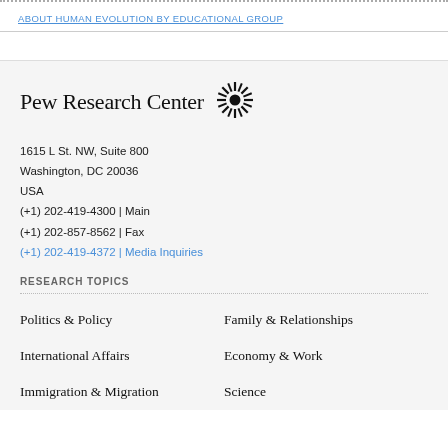ABOUT HUMAN EVOLUTION BY EDUCATIONAL GROUP
[Figure (logo): Pew Research Center logo with sunburst icon]
1615 L St. NW, Suite 800
Washington, DC 20036
USA
(+1) 202-419-4300 | Main
(+1) 202-857-8562 | Fax
(+1) 202-419-4372 | Media Inquiries
RESEARCH TOPICS
Politics & Policy
Family & Relationships
International Affairs
Economy & Work
Immigration & Migration
Science